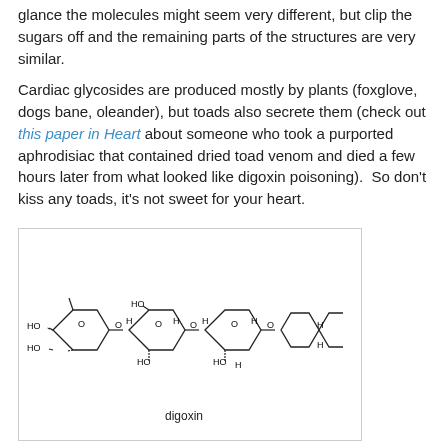glance the molecules might seem very different, but clip the sugars off and the remaining parts of the structures are very similar.
Cardiac glycosides are produced mostly by plants (foxglove, dogs bane, oleander), but toads also secrete them (check out this paper in Heart about someone who took a purported aphrodisiac that contained dried toad venom and died a few hours later from what looked like digoxin poisoning).  So don't kiss any toads, it's not sweet for your heart.
[Figure (illustration): Chemical structure diagram of digoxin, showing three sugar rings on the left connected to a steroid core with hydroxyl groups and a lactone ring on the right. Label 'digoxin' below the structure.]
Update: Read the Naked Scientists on why people might lick toads: Tripping over psychogenic toads.